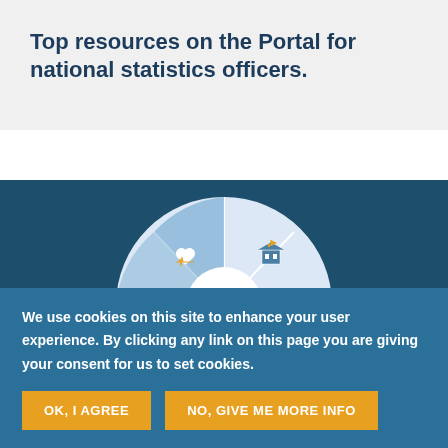Top resources on the Portal for national statistics officers.
[Figure (infographic): A circular wheel/pie diagram with sector icons representing different statistical areas — health (heart with ECG), institutional/government building, justice/scales, a figure with documents, globe with flame, and handshake. The wheel has a white center hub with blue/light-blue sectors separated by white lines.]
We use cookies on this site to enhance your user experience. By clicking any link on this page you are giving your consent for us to set cookies.
OK, I AGREE
NO, GIVE ME MORE INFO